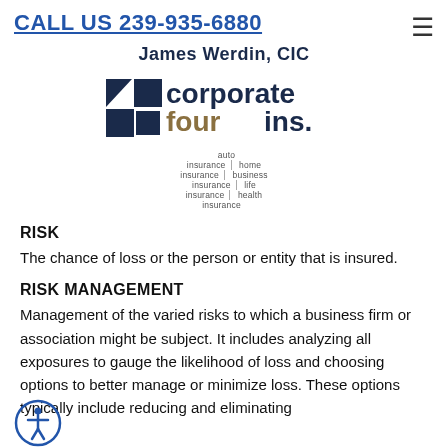CALL US 239-935-6880
[Figure (logo): Corporate Four Insurance logo with agent name James Werdin, CIC and navigation links: auto insurance, home insurance, business insurance, life insurance, health insurance]
RISK
The chance of loss or the person or entity that is insured.
RISK MANAGEMENT
Management of the varied risks to which a business firm or association might be subject. It includes analyzing all exposures to gauge the likelihood of loss and choosing options to better manage or minimize loss. These options typically include reducing and eliminating